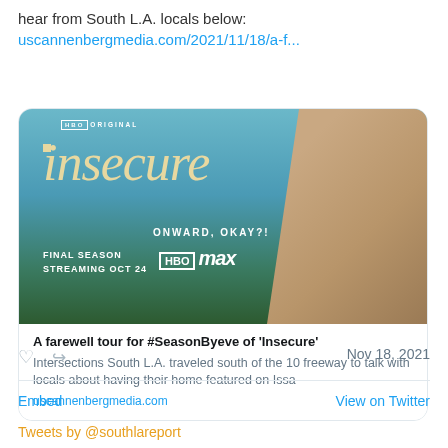hear from South L.A. locals below: uscannenbergmedia.com/2021/11/18/a-f...
[Figure (screenshot): HBO Original Insecure show promotional image with woman standing in front of LA skyline. Text reads: insecure, ONWARD, OKAY?!, FINAL SEASON STREAMING OCT 24, HBO max]
A farewell tour for #SeasonByeve of 'Insecure'
Intersections South L.A. traveled south of the 10 freeway to talk with locals about having their home featured on Issa
uscannenbergmedia.com
Nov 18, 2021
Embed
View on Twitter
Tweets by @southlareport